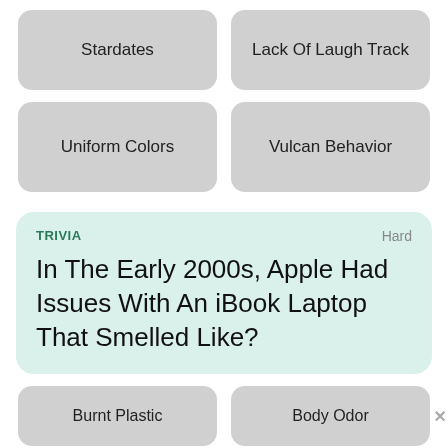Stardates
Lack Of Laugh Track
Uniform Colors
Vulcan Behavior
TRIVIA
Hard
In The Early 2000s, Apple Had Issues With An iBook Laptop That Smelled Like?
Burnt Plastic
Body Odor